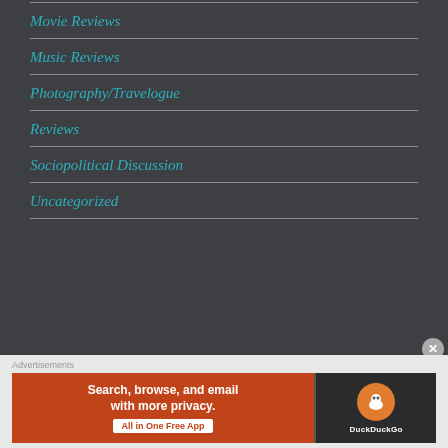Movie Reviews
Music Reviews
Photography/Travelogue
Reviews
Sociopolitical Discussion
Uncategorized
[Figure (screenshot): DuckDuckGo advertisement banner: orange left section with text 'Search, browse, and email with more privacy. All in One Free App', dark right section with DuckDuckGo logo and text 'DuckDuckGo']